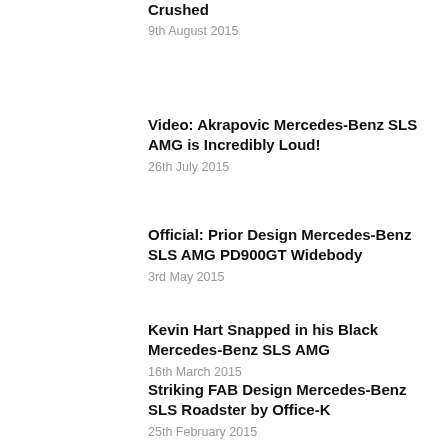Crushed
9th August 2015
Video: Akrapovic Mercedes-Benz SLS AMG is Incredibly Loud!
26th July 2015
Official: Prior Design Mercedes-Benz SLS AMG PD900GT Widebody
3rd May 2015
Kevin Hart Snapped in his Black Mercedes-Benz SLS AMG
16th March 2015
Striking FAB Design Mercedes-Benz SLS Roadster by Office-K
25th February 2015